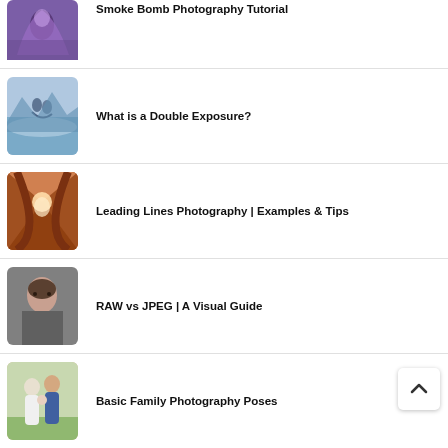Smoke Bomb Photography Tutorial
What is a Double Exposure?
Leading Lines Photography | Examples & Tips
RAW vs JPEG | A Visual Guide
Basic Family Photography Poses
& Easy Newborn Poses...